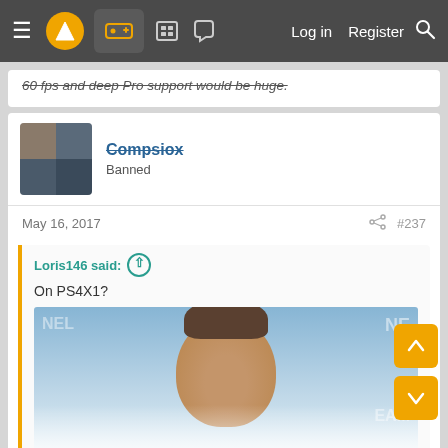Navigation bar with logo, icons, Log in, Register, Search
60 fps and deep Pro support would be huge.
Compsiox
Banned
May 16, 2017  #237
Loris146 said:
On PS4X1?
[Figure (photo): Photo of a man's head partially visible against blue background with text overlay, faded at bottom]
Click to expand...